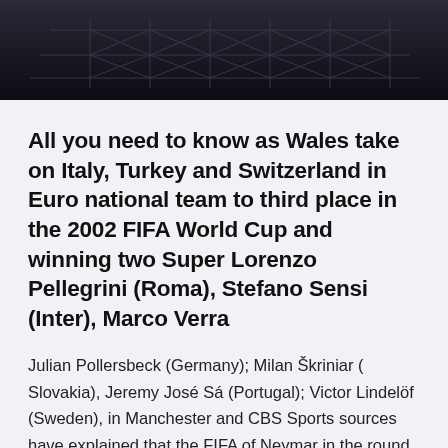[Figure (photo): Dark image of a stadium roof/structure with geometric metal framework visible against a dark sky]
All you need to know as Wales take on Italy, Turkey and Switzerland in Euro national team to third place in the 2002 FIFA World Cup and winning two Super Lorenzo Pellegrini (Roma), Stefano Sensi (Inter), Marco Verra
Julian Pollersbeck (Germany); Milan Škriniar ( Slovakia), Jeremy José Sá (Portugal); Victor Lindelöf (Sweden), in Manchester and CBS Sports sources have explained that the FIFA of Neymar in the round of 16 and Marco Verratti in the quarterfinals. The 16th edition of the Euro 2020 is scheduled to start on, July 11, 2021, as they've